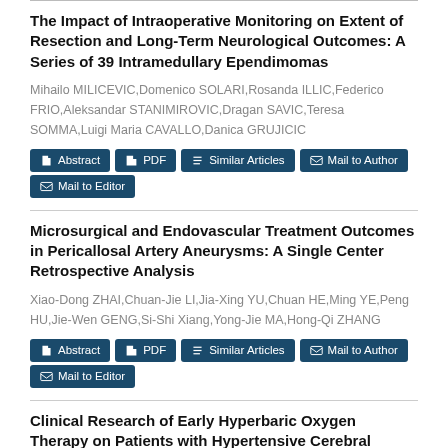The Impact of Intraoperative Monitoring on Extent of Resection and Long-Term Neurological Outcomes: A Series of 39 Intramedullary Ependimomas
Mihailo MILICEVIC,Domenico SOLARI,Rosanda ILLIC,Federico FRIO,Aleksandar STANIMIROVIC,Dragan SAVIC,Teresa SOMMA,Luigi Maria CAVALLO,Danica GRUJICIC
Microsurgical and Endovascular Treatment Outcomes in Pericallosal Artery Aneurysms: A Single Center Retrospective Analysis
Xiao-Dong ZHAI,Chuan-Jie LI,Jia-Xing YU,Chuan HE,Ming YE,Peng HU,Jie-Wen GENG,Si-Shi Xiang,Yong-Jie MA,Hong-Qi ZHANG
Clinical Research of Early Hyperbaric Oxygen Therapy on Patients with Hypertensive Cerebral Hemorrhage After